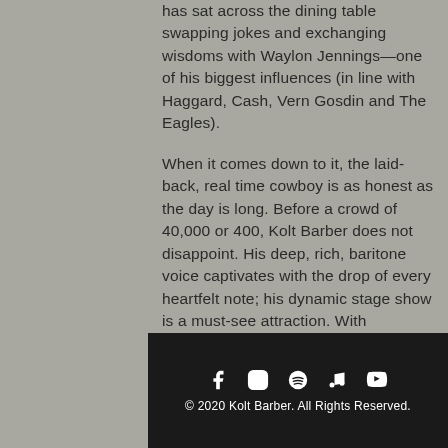has sat across the dining table swapping jokes and exchanging wisdoms with Waylon Jennings—one of his biggest influences (in line with Haggard, Cash, Vern Gosdin and The Eagles).
When it comes down to it, the laid-back, real time cowboy is as honest as the day is long. Before a crowd of 40,000 or 400, Kolt Barber does not disappoint. His deep, rich, baritone voice captivates with the drop of every heartfelt note; his dynamic stage show is a must-see attraction. With gumption to give it his all, Kolt Barber delivers a performance as exciting as an 8-second ride.
© 2020 Kolt Barber. All Rights Reserved.